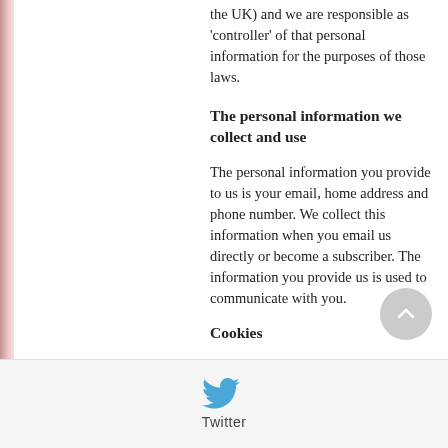the UK) and we are responsible as 'controller' of that personal information for the purposes of those laws.
The personal information we collect and use
The personal information you provide to us is your email, home address and phone number. We collect this information when you email us directly or become a subscriber. The information you provide us is used to communicate with you.
Cookies
Our website is hosted on the wix.com platform. Your data may be stored through wix.com's data storage, databases and the general wix.com applications. Wix stores your data on secure servers behind a firewall. The wix.com platform has listed using the following cookies for the following reasons.
[Figure (logo): Twitter bird logo icon in blue with 'Twitter' label below]